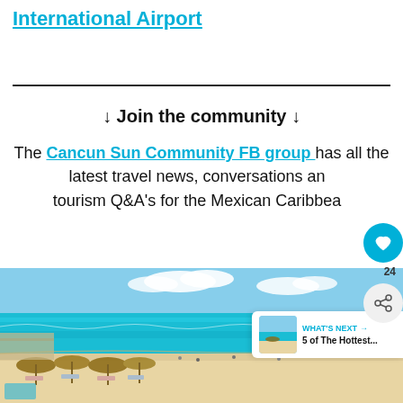International Airport
↓ Join the community ↓
The Cancun Sun Community FB group has all the latest travel news, conversations and tourism Q&A's for the Mexican Caribbean
[Figure (photo): Aerial view of a Cancun beach with turquoise water, white sand, beach umbrellas and thatched palapas, with a hotel resort visible]
WHAT'S NEXT → 5 of The Hottest...